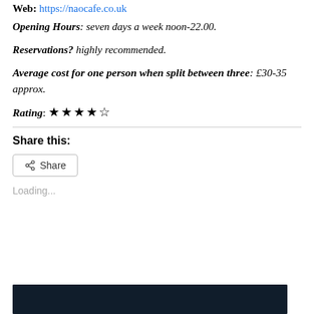Web: https://naocafe.co.uk
Opening Hours: seven days a week noon-22.00.
Reservations? highly recommended.
Average cost for one person when split between three: £30-35 approx.
Rating: ★★★★☆
Share this:
Share
Loading...
[Figure (photo): Dark photo at the bottom of the page, partially visible]